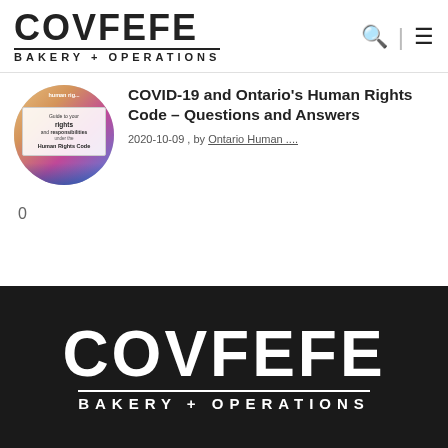COVFEFE BAKERY + OPERATIONS
[Figure (photo): Circular thumbnail image showing Human Rights Code booklet with colorful background]
COVID-19 and Ontario’s Human Rights Code – Questions and Answers
2020-10-09 , by Ontario Human ....
0
COVFEFE BAKERY + OPERATIONS